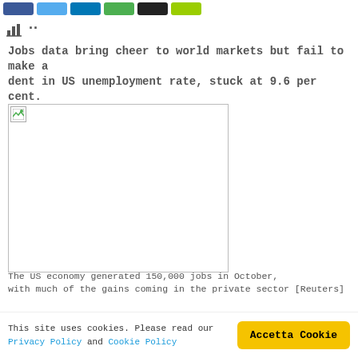[Social share buttons: Facebook, Twitter, LinkedIn, Google+, Black, Yellow-green]
[Figure (other): Bar chart icon and vertical dots menu icon]
Jobs data bring cheer to world markets but fail to make a dent in US unemployment rate, stuck at 9.6 per cent.
[Figure (photo): Broken image placeholder — news photo related to US jobs data]
The US economy generated 150,000 jobs in October, with much of the gains coming in the private sector [Reuters]
Better than expected US jobs data have helped prop up stocks following a global selloff, but still failed to make a dent in the countries unemployment rate which remains at
Utilizziamo i cookie per essere sicuri che tu possa avere la migliore esperienza sul nostro sito. Se continui ad utilizzare questo sito noi assumiamo che tu ne sia felice.
This site uses cookies. Please read our Privacy Policy and Cookie Policy
Accetta Cookie